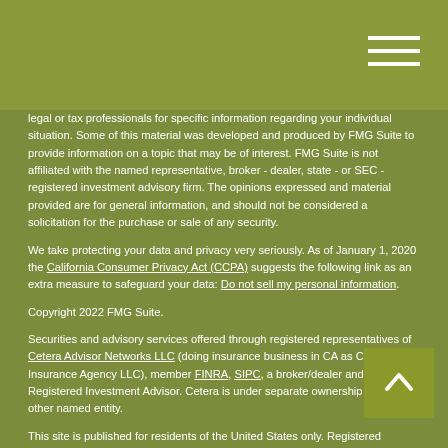Hamburger menu icon
legal or tax professionals for specific information regarding your individual situation. Some of this material was developed and produced by FMG Suite to provide information on a topic that may be of interest. FMG Suite is not affiliated with the named representative, broker - dealer, state - or SEC - registered investment advisory firm. The opinions expressed and material provided are for general information, and should not be considered a solicitation for the purchase or sale of any security.
We take protecting your data and privacy very seriously. As of January 1, 2020 the California Consumer Privacy Act (CCPA) suggests the following link as an extra measure to safeguard your data: Do not sell my personal information.
Copyright 2022 FMG Suite.
Securities and advisory services offered through registered representatives of Cetera Advisor Networks LLC (doing insurance business in CA as CFGAN Insurance Agency LLC), member FINRA, SIPC, a broker/dealer and Registered Investment Advisor. Cetera is under separate ownership from any other named entity.
This site is published for residents of the United States only. Registered representatives of Cetera Advisor Networks may only conduct business with residents of the states and/or jurisdictions in which they are properly registered. Not all of the products and services referenced on this site may be available in every state and through every representative listed. For additional information, please contact the representative(s) listed on the site or visit the Cetera Advisor Networks site at